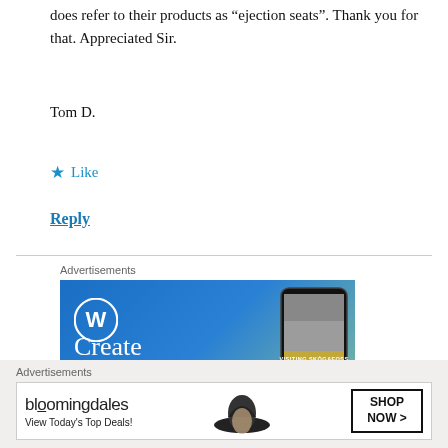does refer to their products as “ejection seats”. Thank you for that. Appreciated Sir.
Tom D.
★ Like
Reply
[Figure (other): WordPress advertisement banner with blue gradient background, WordPress logo, and text 'Create immersive' with phone mockup showing 'Visiting Skógafoss']
[Figure (other): Bloomingdale's advertisement banner showing logo, 'View Today's Top Deals!' text, woman in wide-brim hat, and 'SHOP NOW >' button]